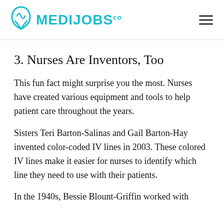MEDIJOBS.co
3. Nurses Are Inventors, Too
This fun fact might surprise you the most. Nurses have created various equipment and tools to help patient care throughout the years.
Sisters Teri Barton-Salinas and Gail Barton-Hay invented color-coded IV lines in 2003. These colored IV lines make it easier for nurses to identify which line they need to use with their patients.
In the 1940s, Bessie Blount-Griffin worked with